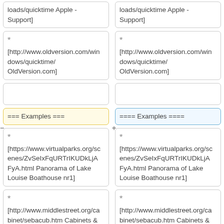loads/quicktime Apple - Support]
loads/quicktime Apple - Support]
* [http://www.oldversion.com/windows/quicktime/ OldVersion.com]
* [http://www.oldversion.com/windows/quicktime/ OldVersion.com]
=== Examples ===
==== Examples ====
* [https://www.virtualparks.org/scenes/ZvSeIxFqURTrIKUDkLjAFyA.html Panorama of Lake Louise Boathouse nr1]
* [https://www.virtualparks.org/scenes/ZvSeIxFqURTrIKUDkLjAFyA.html Panorama of Lake Louise Boathouse nr1]
* [http://www.middlestreet.org/cabinet/sebacub.htm Cabinets &
* [http://www.middlestreet.org/cabinet/sebacub.htm Cabinets &